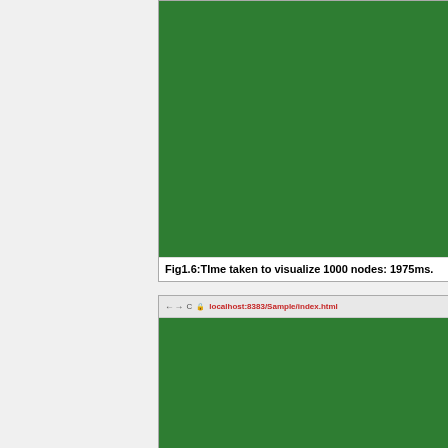[Figure (screenshot): Screenshot of a browser/visualization showing 1000 green circular nodes arranged in a dense grid pattern, each labeled with sequential numbers. The nodes have a 3D-styled green appearance with white star-like connectors between them on a dark green background.]
Fig1.6:TIme taken to visualize 1000 nodes: 1975ms.
[Figure (screenshot): Screenshot of a browser window (localhost:8383/Sample/index.html) showing a dense grid of numbered green circular nodes similar to the top figure, representing another visualization test of nodes on a dark green background.]